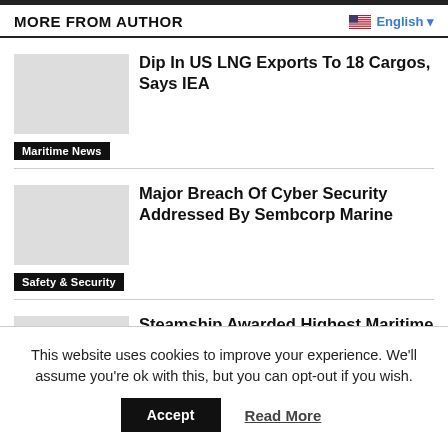MORE FROM AUTHOR
English
Dip In US LNG Exports To 18 Cargos, Says IEA
Maritime News
Major Breach Of Cyber Security Addressed By Sembcorp Marine
Safety & Security
Steamship Awarded Highest Maritime Medal
Maritime News
This website uses cookies to improve your experience. We'll assume you're ok with this, but you can opt-out if you wish.
Accept
Read More